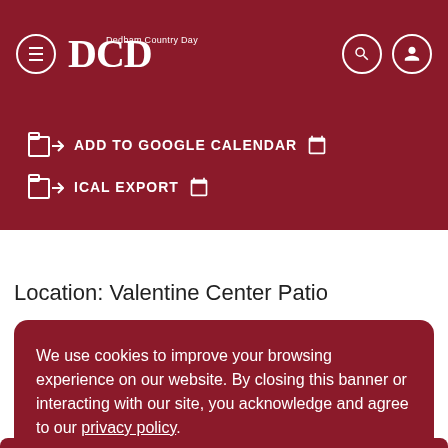DCD Dedham Country Day
ADD TO GOOGLE CALENDAR
ICAL EXPORT
Location: Valentine Center Patio
We use cookies to improve your browsing experience on our website. By closing this banner or interacting with our site, you acknowledge and agree to our privacy policy.
GOT IT!